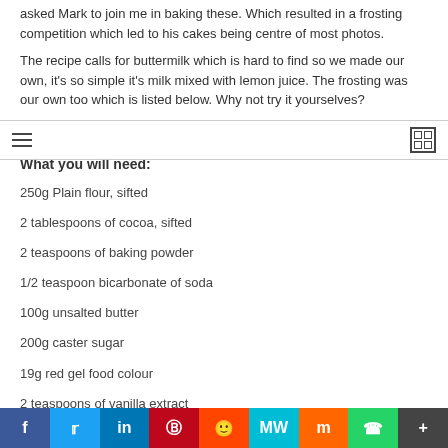asked Mark to join me in baking these. Which resulted in a frosting competition which led to his cakes being centre of most photos.
The recipe calls for buttermilk which is hard to find so we made our own, it's so simple it's milk mixed with lemon juice. The frosting was our own too which is listed below. Why not try it yourselves?
What you will need:
250g Plain flour, sifted
2 tablespoons of cocoa, sifted
2 teaspoons of baking powder
1/2 teaspoon bicarbonate of soda
100g unsalted butter
200g caster sugar
19g red gel food colour
2 teaspoons of vanilla extract